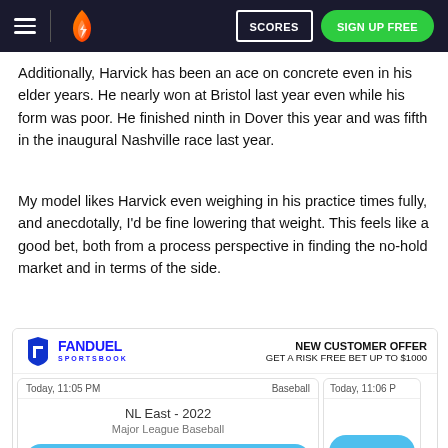SCORES | SIGN UP FREE
Additionally, Harvick has been an ace on concrete even in his elder years. He nearly won at Bristol last year even while his form was poor. He finished ninth in Dover this year and was fifth in the inaugural Nashville race last year.
My model likes Harvick even weighing in his practice times fully, and anecdotally, I'd be fine lowering that weight. This feels like a good bet, both from a process perspective in finding the no-hold market and in terms of the side.
[Figure (infographic): FanDuel Sportsbook ad: NEW CUSTOMER OFFER GET A RISK FREE BET UP TO $1000. Betting card showing NL East - 2022 Major League Baseball, New York NL -410. Partial card showing +110.]